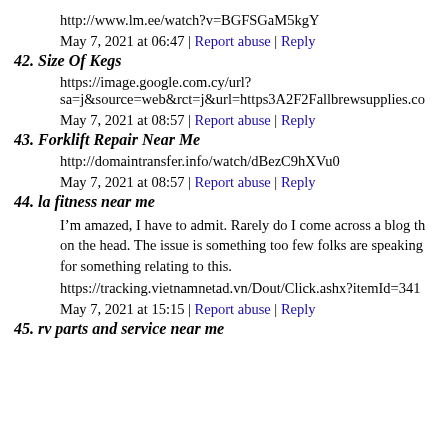http://www.lm.ee/watch?v=BGFSGaM5kgY
May 7, 2021 at 06:47 | Report abuse | Reply
42. Size Of Kegs
https://image.google.com.cy/url?sa=j&source=web&rct=j&url=https3A2F2Fallbrewsupplies.co
May 7, 2021 at 08:57 | Report abuse | Reply
43. Forklift Repair Near Me
http://domaintransfer.info/watch/dBezC9hXVu0
May 7, 2021 at 08:57 | Report abuse | Reply
44. la fitness near me
I’m amazed, I have to admit. Rarely do I come across a blog th on the head. The issue is something too few folks are speaking for something relating to this.
https://tracking.vietnamnetad.vn/Dout/Click.ashx?itemId=341
May 7, 2021 at 15:15 | Report abuse | Reply
45. rv parts and service near me